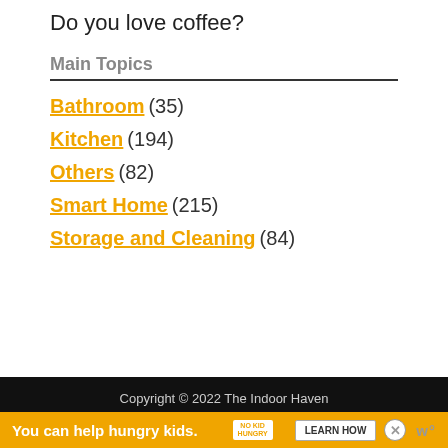Do you love coffee?
Main Topics
Bathroom (35)
Kitchen (194)
Others (82)
Smart Home (215)
Storage and Cleaning (84)
Copyright © 2022 The Indoor Haven
You can help hungry kids. NO KID HUNGRY LEARN HOW